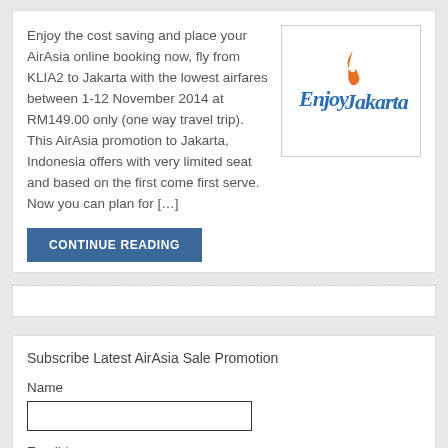Enjoy the cost saving and place your AirAsia online booking now, fly from KLIA2 to Jakarta with the lowest airfares between 1-12 November 2014 at RM149.00 only (one way travel trip). This AirAsia promotion to Jakarta, Indonesia offers with very limited seat and based on the first come first serve. Now you can plan for […]
[Figure (logo): Enjoy Jakarta logo — stylized cursive blue text 'Enjoy Jakarta' with an orange flame above the 'J']
CONTINUE READING
Subscribe Latest AirAsia Sale Promotion
Name
Email *